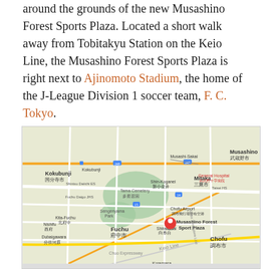around the grounds of the new Musashino Forest Sports Plaza. Located a short walk away from Tobitakyu Station on the Keio Line, the Musashino Forest Sports Plaza is right next to Ajinomoto Stadium, the home of the J-League Division 1 soccer team, F. C. Tokyo.
[Figure (map): Google Maps screenshot showing the area around Musashino Forest Sport Plaza in western Tokyo, with a red pin marker on the venue. Surrounding area shows Fuchu, Chofu, Mitaka, Kokubunji districts, Tama Cemetery, Keio Line railway, Chuo Expressway, and various labeled landmarks in Japanese and English.]